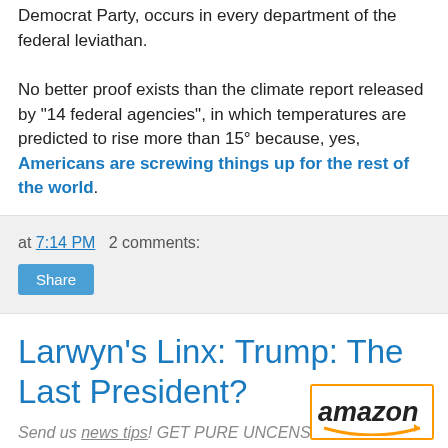Democrat Party, occurs in every department of the federal leviathan.

No better proof exists than the climate report released by "14 federal agencies", in which temperatures are predicted to rise more than 15° because, yes, Americans are screwing things up for the rest of the world.
at 7:14 PM   2 comments:
Share
Larwyn's Linx: Trump: The Last President?
Send us news tips! GET PURE UNCENSORED NEWS, 24/7, at BadBlue.com.
Nation
Trump: The Last President?: Wilder Continetti: Divisions in the Country Are
[Figure (logo): Amazon logo with orange smile arrow]